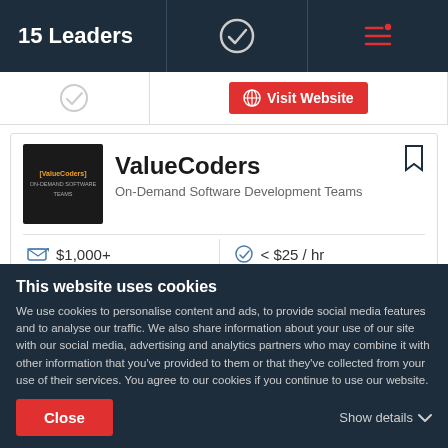15 Leaders
[Figure (screenshot): Partial previous listing card row with globe icon, Visit Website button, and filter icon]
ValueCoders
On-Demand Software Development Teams
$1,000+
< $25 / hr
250 - 999
Bengaluru, India
This website uses cookies
We use cookies to personalise content and ads, to provide social media features and to analyse our traffic. We also share information about your use of our site with our social media, advertising and analytics partners who may combine it with other information that you've provided to them or that they've collected from your use of their services. You agree to our cookies if you continue to use our website.
Close
Show details